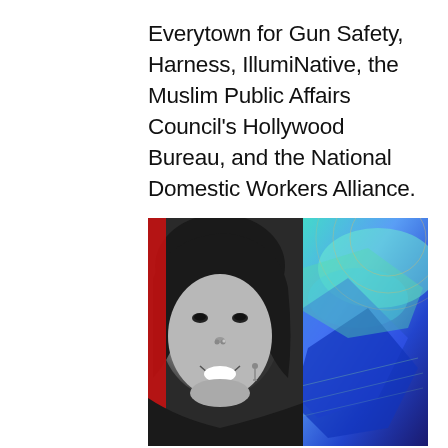Everytown for Gun Safety, Harness, IllumiNative, the Muslim Public Affairs Council's Hollywood Bureau, and the National Domestic Workers Alliance.
[Figure (photo): A smiling woman with dark hair, shown in black and white on the left side, with a colorful abstract blue and green digital art background on the right side of the image.]